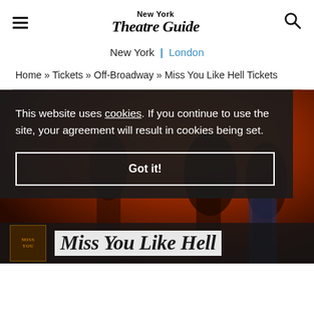New York Theatre Guide — navigation header with hamburger menu and search icon
New York | London
Home » Tickets » Off-Broadway » Miss You Like Hell Tickets
[Figure (photo): Dark theatrical photo showing performers on stage with warm orange/red background lighting, partially obscured by cookie consent overlay]
This website uses cookies. If you continue to use the site, your agreement will result in cookies being set.
Got it!
Miss You Like Hell